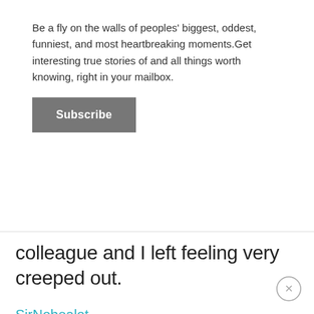Be a fly on the walls of peoples' biggest, oddest, funniest, and most heartbreaking moments.Get interesting true stories of and all things worth knowing, right in your mailbox.
Subscribe
colleague and I left feeling very creeped out.
SirNobealot